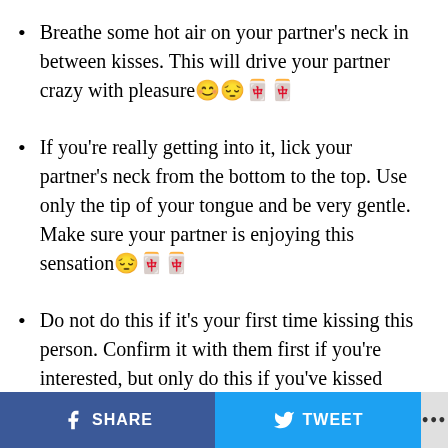Breathe some hot air on your partner's neck in between kisses. This will drive your partner crazy with pleasure😊😔🀄🀄
If you're really getting into it, lick your partner's neck from the bottom to the top. Use only the tip of your tongue and be very gentle. Make sure your partner is enjoying this sensation😔🀄🀄
Do not do this if it's your first time kissing this person. Confirm it with them first if you're interested, but only do this if you've kissed their
SHARE   TWEET   ...